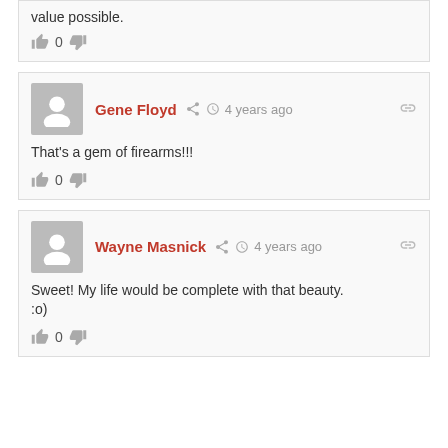value possible.
👍 0 👎
Gene Floyd  4 years ago
That's a gem of firearms!!!
👍 0 👎
Wayne Masnick  4 years ago
Sweet! My life would be complete with that beauty.
:o)
👍 0 👎